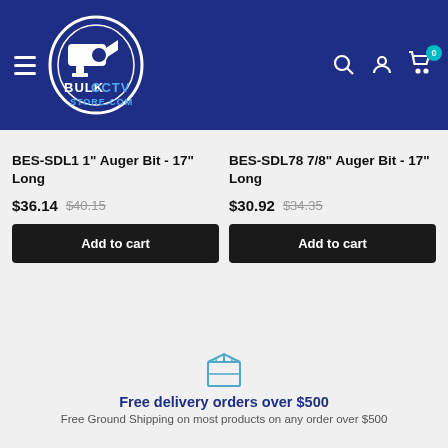[Figure (logo): BulkCCTVStore.com logo with security camera icon in circular emblem, white on dark blue header background]
BES-SDL1 1" Auger Bit - 17" Long
$36.14  $40.15
BES-SDL78 7/8" Auger Bit - 17" Long
$30.92  $34.35
Add to cart
Add to cart
Free delivery orders over $500
Free Ground Shipping on most products on any order over $500